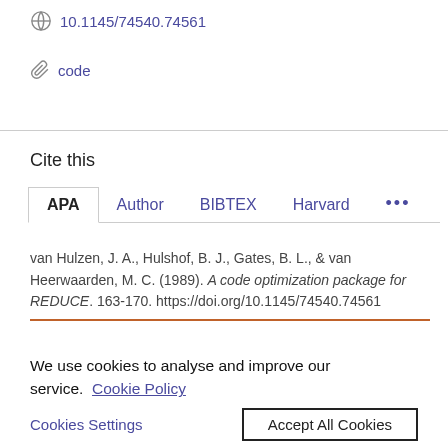10.1145/74540.74561
code
Cite this
APA  Author  BIBTEX  Harvard  ...
van Hulzen, J. A., Hulshof, B. J., Gates, B. L., & van Heerwaarden, M. C. (1989). A code optimization package for REDUCE. 163-170. https://doi.org/10.1145/74540.74561
We use cookies to analyse and improve our service. Cookie Policy
Cookies Settings  Accept All Cookies